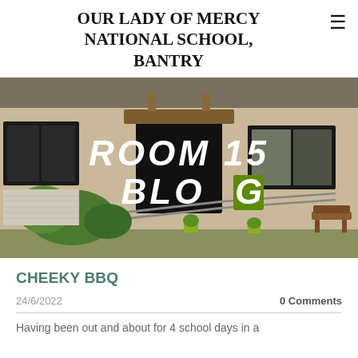OUR LADY OF MERCY NATIONAL SCHOOL, BANTRY
[Figure (photo): School building exterior with ramp, shrubs, and entrance. Overlaid text reads ROOM 15 BLOG in bold italic white font with a green letter G.]
CHEEKY BBQ
24/6/2022
0 Comments
Having been out and about for 4 school days in a